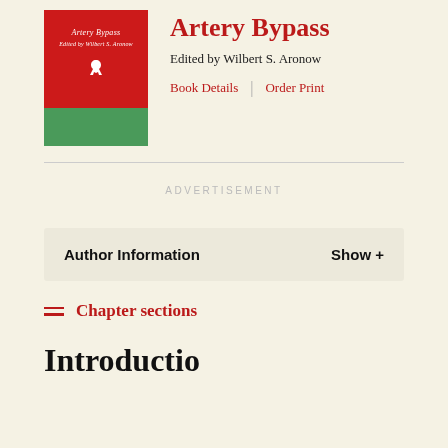[Figure (illustration): Book cover for 'Artery Bypass' edited by Wilbert S. Aronow. Red cover with white italic title and editor text, white horse/animal logo, green bottom section.]
Artery Bypass
Edited by Wilbert S. Aronow
Book Details | Order Print
ADVERTISEMENT
Author Information
Show +
Chapter sections
Introductio